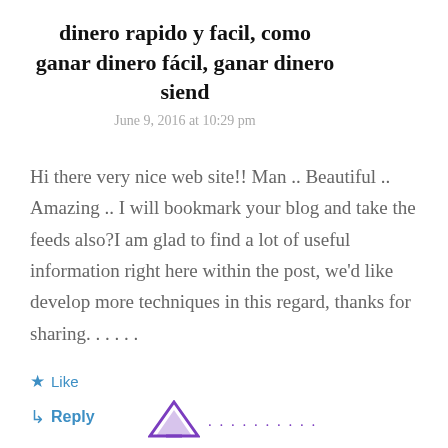dinero rapido y facil, como ganar dinero fácil, ganar dinero siend
June 9, 2016 at 10:29 pm
Hi there very nice web site!! Man .. Beautiful .. Amazing .. I will bookmark your blog and take the feeds also?I am glad to find a lot of useful information right here within the post, we'd like develop more techniques in this regard, thanks for sharing. . . . . .
★ Like
↳ Reply